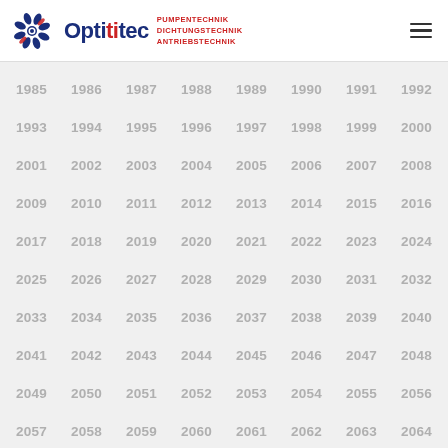Optitec – PUMPENTECHNIK DICHTUNGSTECHNIK ANTRIEBSTECHNIK
1985 1986 1987 1988 1989 1990 1991 1992
1993 1994 1995 1996 1997 1998 1999 2000
2001 2002 2003 2004 2005 2006 2007 2008
2009 2010 2011 2012 2013 2014 2015 2016
2017 2018 2019 2020 2021 2022 2023 2024
2025 2026 2027 2028 2029 2030 2031 2032
2033 2034 2035 2036 2037 2038 2039 2040
2041 2042 2043 2044 2045 2046 2047 2048
2049 2050 2051 2052 2053 2054 2055 2056
2057 2058 2059 2060 2061 2062 2063 2064
2065 2066 2067 2068 2069 2070 2071 2072